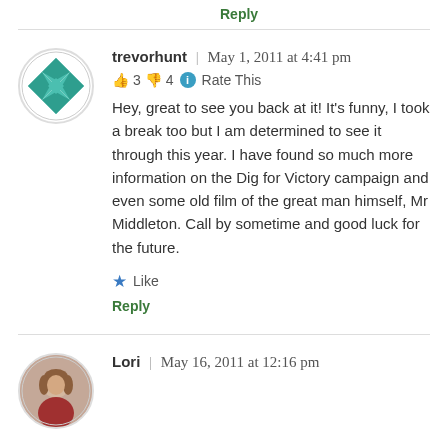Reply
trevorhunt | May 1, 2011 at 4:41 pm
👍 3 👎 4 ℹ Rate This
Hey, great to see you back at it! It's funny, I took a break too but I am determined to see it through this year. I have found so much more information on the Dig for Victory campaign and even some old film of the great man himself, Mr Middleton. Call by sometime and good luck for the future.
★ Like
Reply
Lori | May 16, 2011 at 12:16 pm